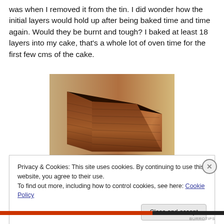was when I removed it from the tin. I did wonder how the initial layers would hold up after being baked time and time again. Would they be burnt and tough? I baked at least 18 layers into my cake, that's a whole lot of oven time for the first few cms of the cake.
[Figure (photo): A layered loaf cake, golden-brown and rectangular, resting on a wooden surface. The layers are visible on the side of the cake.]
Privacy & Cookies: This site uses cookies. By continuing to use this website, you agree to their use.
To find out more, including how to control cookies, see here: Cookie Policy